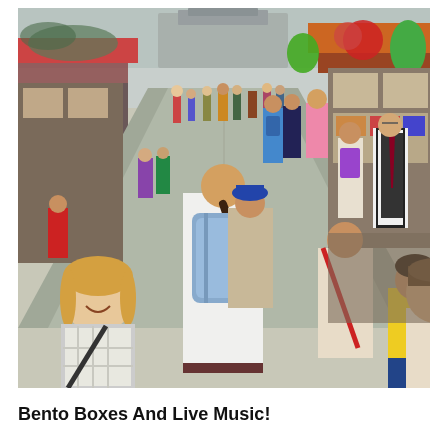[Figure (photo): Crowded outdoor market street scene in Japan (Nakamise Shopping Street near Senso-ji temple, Asakusa, Tokyo). Many tourists and locals walking down a wide pedestrian street lined with souvenir shops. Colorful lanterns, balloons, and decorations visible. In the foreground: a smiling woman, a woman with a blue backpack, a child in yellow shirt, and a man taking a selfie partially cropped on the right edge.]
Bento Boxes And Live Music!